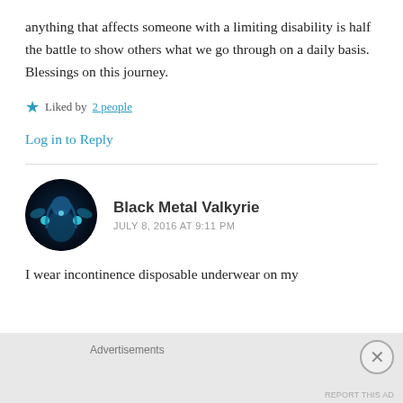anything that affects someone with a limiting disability is half the battle to show others what we go through on a daily basis. Blessings on this journey.
Liked by 2 people
Log in to Reply
Black Metal Valkyrie
JULY 8, 2016 AT 9:11 PM
I wear incontinence disposable underwear on my
Advertisements